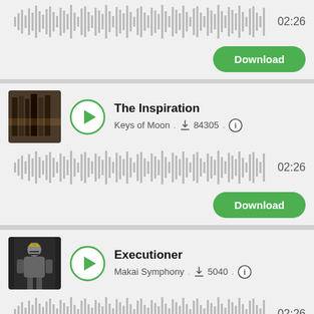[Figure (screenshot): Partial audio player card showing waveform and duration 02:26 with Download button]
[Figure (screenshot): Audio player card for 'The Inspiration' by Keys of Moon, 84305 downloads, duration 02:26, with Download button]
[Figure (screenshot): Audio player card for 'Executioner' by Makai Symphony, 5040 downloads, duration 02:26, with partial Download button at bottom]